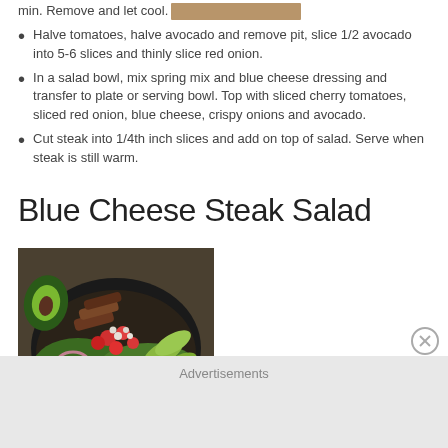min. Remove and let cool.
Halve tomatoes, halve avocado and remove pit, slice 1/2 avocado into 5-6 slices and thinly slice red onion.
In a salad bowl, mix spring mix and blue cheese dressing and transfer to plate or serving bowl. Top with sliced cherry tomatoes, sliced red onion, blue cheese, crispy onions and avocado.
Cut steak into 1/4th inch slices and add on top of salad. Serve when steak is still warm.
Blue Cheese Steak Salad
[Figure (photo): A plate of Blue Cheese Steak Salad with sliced steak, avocado, cherry tomatoes, red onion, and blue cheese on a bed of greens.]
Advertisements